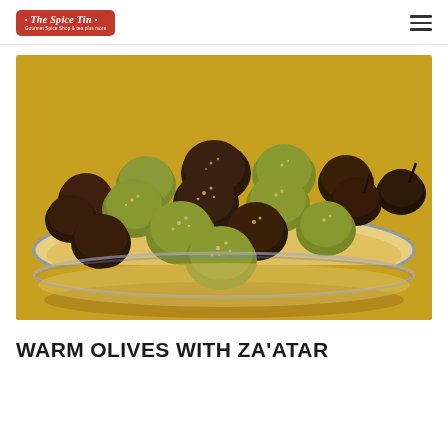The Spice Tin - Gourmet Spice Shop
[Figure (photo): A yellow ceramic bowl filled with warm mixed olives (green and dark/black) coated with za'atar spice blend, placed on a yellow surface. The olives are glistening and piled high in the bowl.]
WARM OLIVES WITH ZA'ATAR